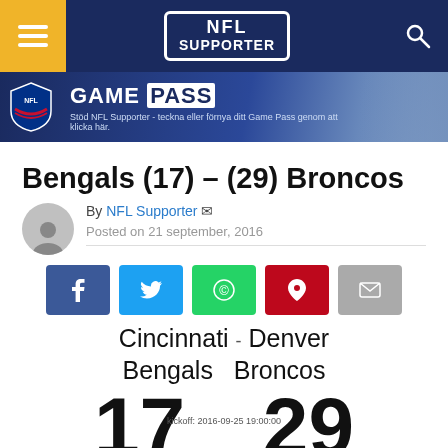NFL Supporter
[Figure (screenshot): NFL Game Pass banner advertisement with NFL shield logo, text 'GAME PASS', subtitle 'Stöd NFL Supporter - teckna eller förnya ditt Game Pass genom att klicka här.' and a player image on the right]
Bengals (17) – (29) Broncos
By NFL Supporter  Posted on 21 september, 2016
[Figure (screenshot): Social share buttons: Facebook (blue), Twitter (light blue), WhatsApp (green), Pinterest (red), Email (grey)]
Cincinnati Bengals - Denver Broncos
17  kickoff: 2016-09-25 19:00:00  29
Q1 7 - 3 Q1